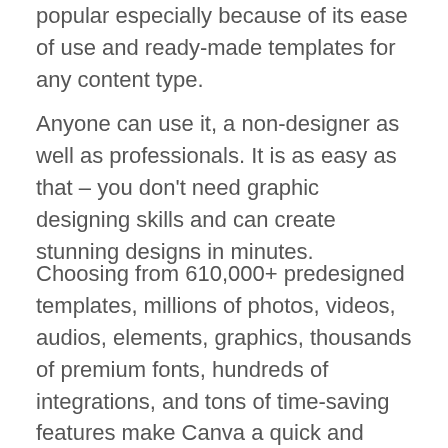popular especially because of its ease of use and ready-made templates for any content type.
Anyone can use it, a non-designer as well as professionals. It is as easy as that – you don't need graphic designing skills and can create stunning designs in minutes.
Choosing from 610,000+ predesigned templates, millions of photos, videos, audios, elements, graphics, thousands of premium fonts, hundreds of integrations, and tons of time-saving features make Canva a quick and affordable tool for creating professional-looking designs.